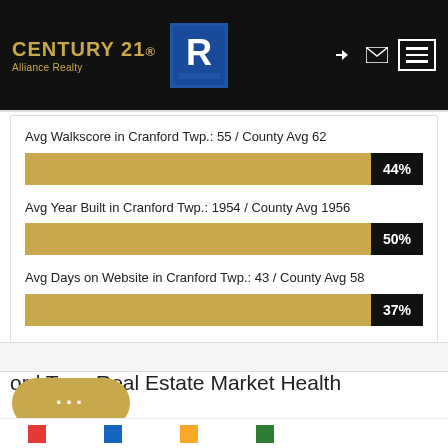CENTURY 21 Alliance Realty
Avg Walkscore in Cranford Twp.: 55 / County Avg 62
[Figure (bar-chart): Avg Walkscore]
Avg Year Built in Cranford Twp.: 1954 / County Avg 1956
[Figure (bar-chart): Avg Year Built]
Avg Days on Website in Cranford Twp.: 43 / County Avg 58
[Figure (bar-chart): Avg Days on Website]
Cranford Twp. Real Estate Market Health